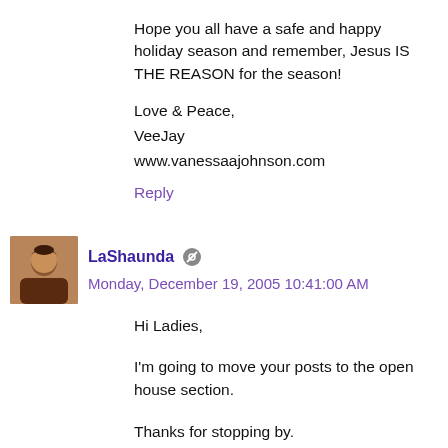Hope you all have a safe and happy holiday season and remember, Jesus IS THE REASON for the season!
Love & Peace,
VeeJay
www.vanessaajohnson.com
Reply
LaShaunda  Monday, December 19, 2005 10:41:00 AM
Hi Ladies,
I'm going to move your posts to the open house section.
Thanks for stopping by.
Reply
Anonymous  Monday, December 19, 2005 12:07:00 PM
I would first like to wish everyone a safe and blessed